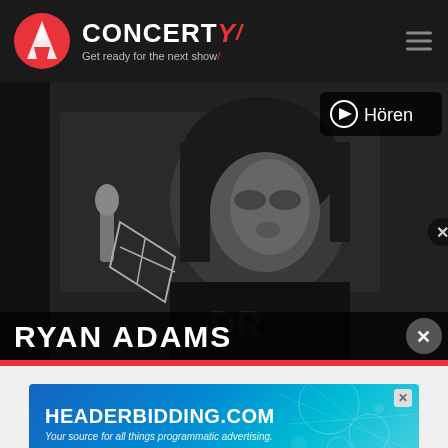[Figure (logo): Concerty website header with logo (Y icon in red circle), brand name CONCERTY with red slash, tagline 'Get ready for the next show' and hamburger menu icon]
[Figure (photo): Black and white photo of Ryan Adams at a microphone in a recording studio, with a 'Hören' (listen) play button overlay in the top right, and 'RYAN ADAMS' text overlay at the bottom]
[Figure (screenshot): Advertisement banner for HEADERBIDDING.COM with tagline 'Your source for all things programmatic advertising.' on a blue/teal gradient background]